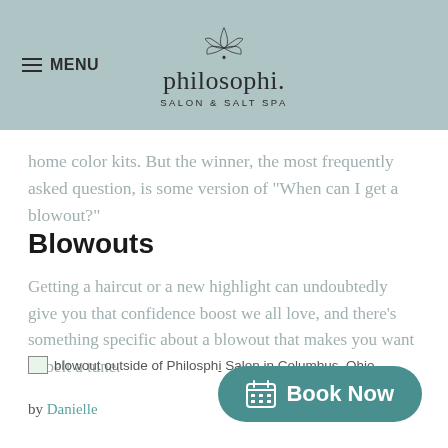MENU | philosophi. SALON & SALT SPA
home color kits. But the winner, the most frequently asked question, is some version of “When can I get a blowout?”
Blowouts
Getting a haircut or a new highlight can undoubtedly give you that confidence boost we all love, and there’s something specific about a blowout that makes you want to belt a tune.
[Figure (photo): Partially loaded image with alt text: blowout outside of Philosph i Salon in Columbus, Ohio]
by Danielle